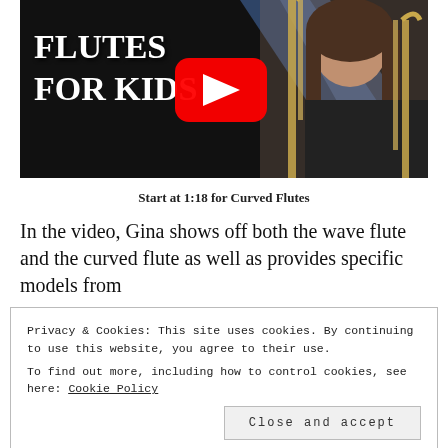[Figure (screenshot): YouTube video thumbnail showing 'FLUTES FOR KIDS' text on dark background with a young woman holding flutes and a YouTube play button in the center]
Start at 1:18 for Curved Flutes
In the video, Gina shows off both the wave flute and the curved flute as well as provides specific models from
Privacy & Cookies: This site uses cookies. By continuing to use this website, you agree to their use.
To find out more, including how to control cookies, see here: Cookie Policy
Close and accept